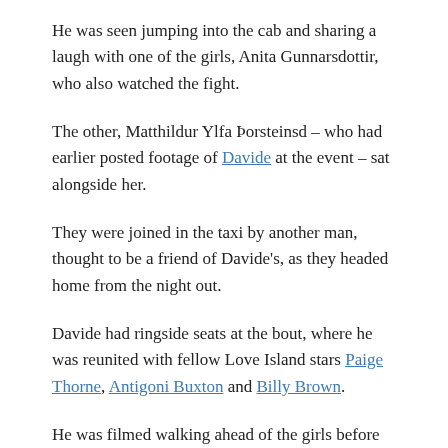He was seen jumping into the cab and sharing a laugh with one of the girls, Anita Gunnarsdottir, who also watched the fight.
The other, Matthildur Ylfa Þorsteinsd – who had earlier posted footage of Davide at the event – sat alongside her.
They were joined in the taxi by another man, thought to be a friend of Davide's, as they headed home from the night out.
Davide had ringside seats at the bout, where he was reunited with fellow Love Island stars Paige Thorne, Antigoni Buxton and Billy Brown.
He was filmed walking ahead of the girls before jumping into the cab – and there's no suggested anything improper happened.
Davide and Ekin had a rocky relationship on Love Island but it appeared to go from strength to strength outside the villa.